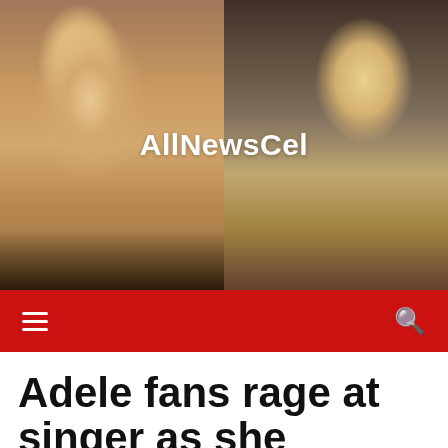[Figure (photo): Two side-by-side photos of Adele. Left: close-up of her face with blonde hair and minimal makeup. Right: full-body photo of her wearing a black floral outfit, holding items in her hands.]
AllNewsCel
≡  🔍
Adele fans rage at singer as she announces new